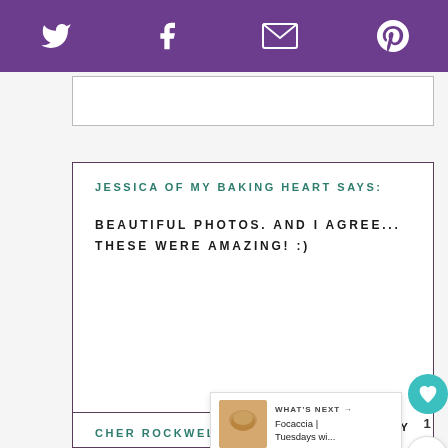[Figure (other): Purple top navigation bar with social media icons: Twitter bird, Facebook f, email envelope, Pinterest P]
[Figure (screenshot): Partial search/input box visible at top]
JESSICA OF MY BAKING HEART SAYS:
BEAUTIFUL PHOTOS. AND I AGREE... THESE WERE AMAZING! :)
REPLY
[Figure (other): Teal heart like button with count of 1]
[Figure (other): Share button icon]
1
[Figure (other): What's Next panel with food image and text: Focaccia | Tuesdays wi...]
CHER ROCKWELL SAYS:
YES. MAKE THESE.